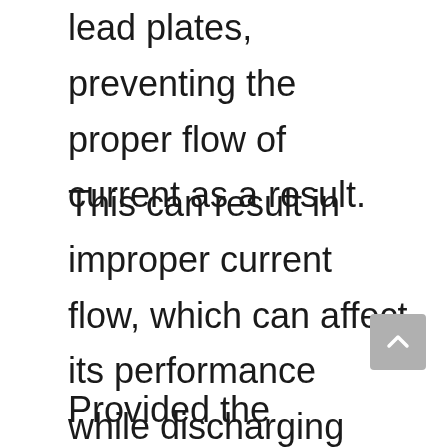lead plates, preventing the proper flow of current as a result.
This can result in improper current flow, which can affect its performance while discharging and recharging. The plates will also corrode at a much faster rate due to this.
Provided the corrosion is minimal,